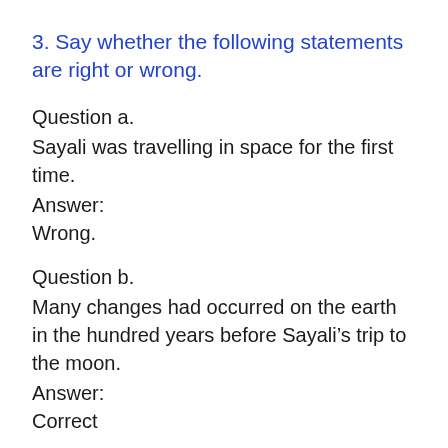3. Say whether the following statements are right or wrong.
Question a.
Sayali was travelling in space for the first time.
Answer:
Wrong.
Question b.
Many changes had occurred on the earth in the hundred years before Sayali’s trip to the moon.
Answer:
Correct
Question c.